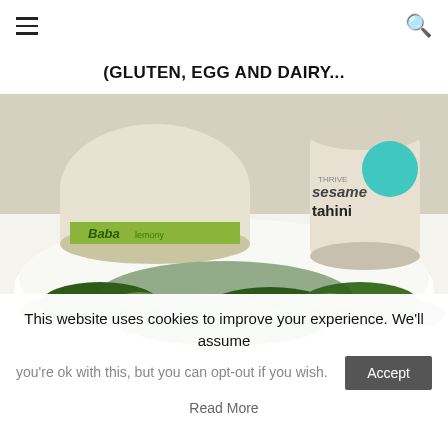≡  🔍
(GLUTEN, EGG AND DAIRY...
[Figure (photo): A white bowl filled with a kale and Brussels sprout salad with purple cabbage, with a container of hummus (Baba) and a jar of Thrive sesame tahini in the background on a white surface.]
This website uses cookies to improve your experience. We'll assume you're ok with this, but you can opt-out if you wish.
Read More